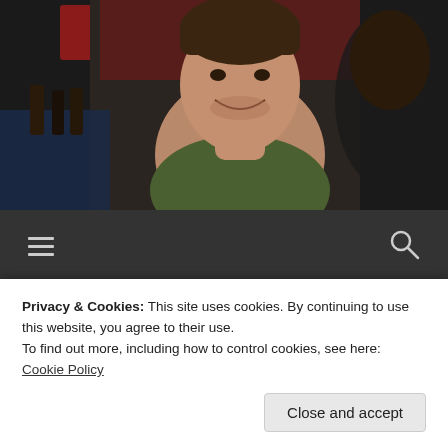[Figure (photo): Photo of a smiling man in a green shirt, cropped at head/torso, appears to be a still from a TV show (New Girl), dark background with red/blue elements]
≡  🔍
Get Off My Lawn!
JANUARY 18, 2018  /  PECKAPALOOZA
Like New Girl's Nick Miller, I'm pretty sure I'm aging
Privacy & Cookies: This site uses cookies. By continuing to use this website, you agree to their use.
To find out more, including how to control cookies, see here: Cookie Policy
about to get a dose of what I like to call a "Get off my